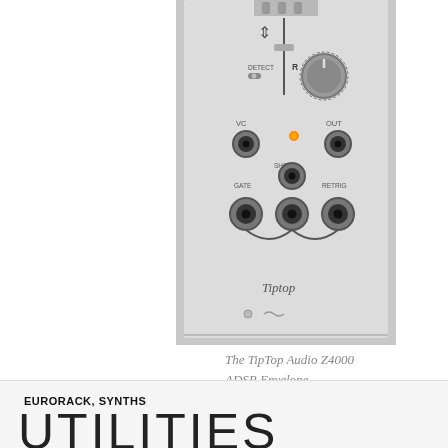[Figure (photo): Photo of the TipTop Audio Z4000 ADSR Envelope synthesizer module, showing knobs, patch jacks labeled GATE, SHOOT, RETRIG, VC, OUT, R, and the Tiptop branding at the bottom.]
The TipTop Audio Z4000 ADSR Envelope.
Envelope summary:
1 TipTop Audio Z4000 Envelope Generator
1 Doepfer A-140 ADSR
EURORACK, SYNTHS
UTILITIES